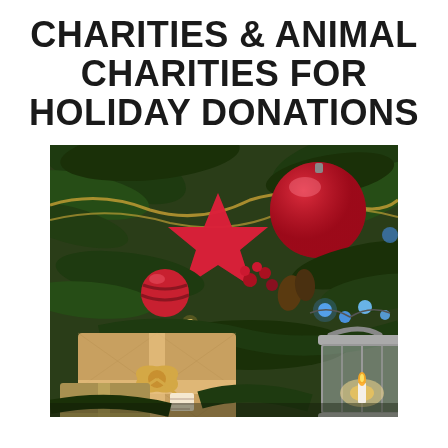CHARITIES & ANIMAL CHARITIES FOR HOLIDAY DONATIONS
[Figure (photo): Christmas scene with wrapped gifts in kraft paper with bow, decorative lantern, red ornaments (star and ball), pine tree branches with tinsel, and blue fairy lights arranged under a Christmas tree.]